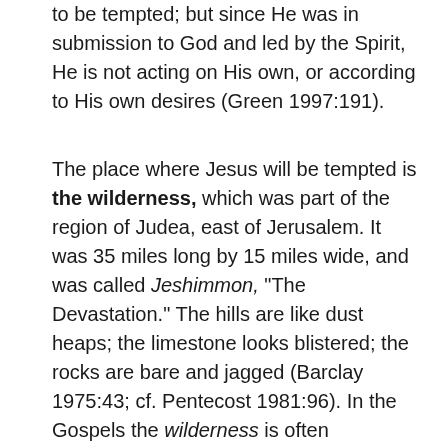to be tempted; but since He was in submission to God and led by the Spirit, He is not acting on His own, or according to His own desires (Green 1997:191).
The place where Jesus will be tempted is the wilderness, which was part of the region of Judea, east of Jerusalem. It was 35 miles long by 15 miles wide, and was called Jeshimmon, “The Devastation.” The hills are like dust heaps; the limestone looks blistered; the rocks are bare and jagged (Barclay 1975:43; cf. Pentecost 1981:96). In the Gospels the wilderness is often portrayed as a place of demonic activity, (cf. Luke 8:29, 11:24), but in other situations, it is where Jesus goes to commune with God (Luke 1:80; 3:2; 5:16;